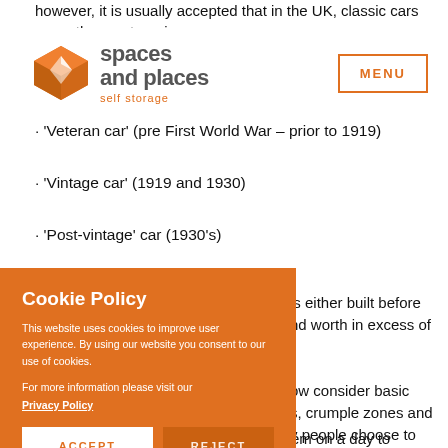however, it is usually accepted that in the UK, classic cars cover three categories:
[Figure (logo): Spaces and Places self storage logo — orange 3D box icon with white diamond facets, text 'spaces and places' in grey bold, 'self storage' in orange below]
· 'Veteran car' (pre First World War – prior to 1919)
· 'Vintage car' (1919 and 1930)
· 'Post-vintage' car (1930's)
is either built before and worth in excess of
ow consider basic s, crumple zones and v people choose to collect the vehicles rather than drive them on a day to
[Figure (other): Cookie Policy overlay banner — orange background with white text: 'Cookie Policy', body text about cookies, Privacy Policy link, ACCEPT and REJECT buttons]